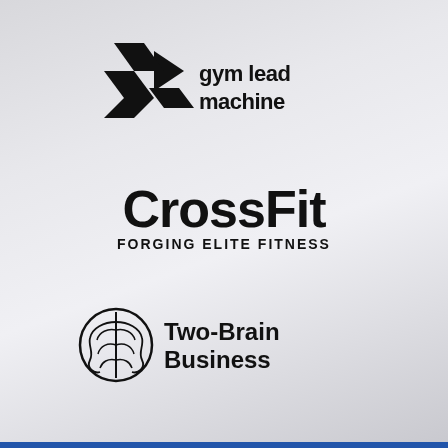[Figure (logo): Gym Lead Machine logo with geometric arrow/chevron icon and text 'gym lead machine']
[Figure (logo): CrossFit logo with bold text 'CrossFit' and subtitle 'FORGING ELITE FITNESS']
[Figure (logo): Two-Brain Business logo with brain icon and text 'Two-Brain Business']